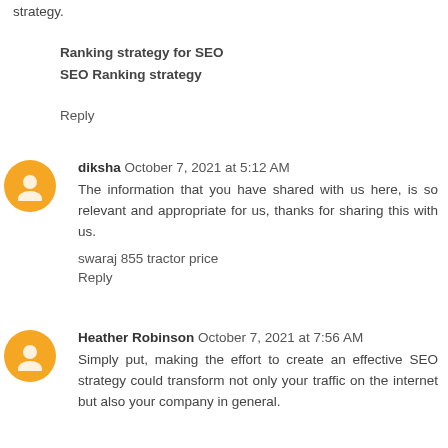strategy.
Ranking strategy for SEO
SEO Ranking strategy
Reply
diksha  October 7, 2021 at 5:12 AM
The information that you have shared with us here, is so relevant and appropriate for us, thanks for sharing this with us.
swaraj 855 tractor price
Reply
Heather Robinson  October 7, 2021 at 7:56 AM
Simply put, making the effort to create an effective SEO strategy could transform not only your traffic on the internet but also your company in general.